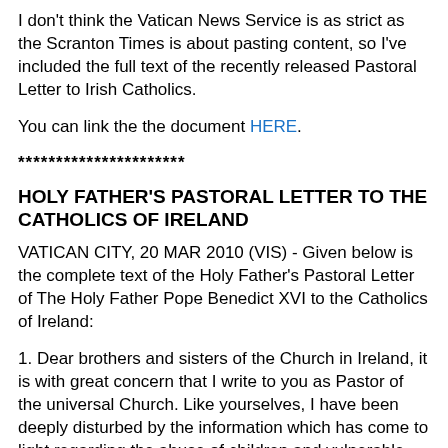I don't think the Vatican News Service is as strict as the Scranton Times is about pasting content, so I've included the full text of the recently released Pastoral Letter to Irish Catholics.
You can link the the document HERE.
**********************
HOLY FATHER'S PASTORAL LETTER TO THE CATHOLICS OF IRELAND
VATICAN CITY, 20 MAR 2010 (VIS) - Given below is the complete text of the Holy Father's Pastoral Letter of The Holy Father Pope Benedict XVI to the Catholics of Ireland:
1. Dear brothers and sisters of the Church in Ireland, it is with great concern that I write to you as Pastor of the universal Church. Like yourselves, I have been deeply disturbed by the information which has come to light regarding the abuse of children and vulnerable young people by members of the Church in Ireland, particularly by priests and religious. I can only share in the dismay and the sense